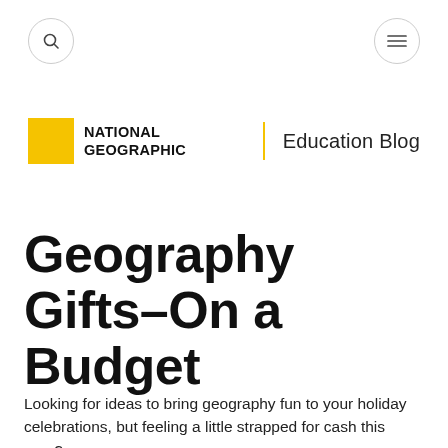[Figure (logo): National Geographic logo with yellow square and bold text, beside 'Education Blog' text separated by yellow vertical bar]
Geography Gifts–On a Budget
Looking for ideas to bring geography fun to your holiday celebrations, but feeling a little strapped for cash this year?